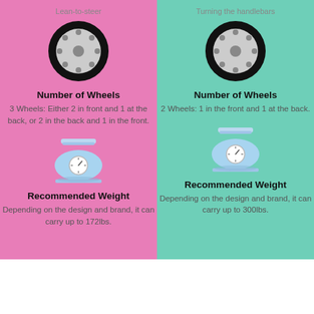Lean-to-steer
Turning the handlebars
[Figure (illustration): Black bicycle wheel icon, left column]
Number of Wheels
3 Wheels: Either 2 in front and 1 at the back, or 2 in the back and 1 in the front.
[Figure (illustration): Blue kitchen scale icon, left column]
Recommended Weight
Depending on the design and brand, it can carry up to 172lbs.
[Figure (illustration): Black bicycle wheel icon, right column]
Number of Wheels
2 Wheels: 1 in the front and 1 at the back.
[Figure (illustration): Blue kitchen scale icon, right column]
Recommended Weight
Depending on the design and brand, it can carry up to 300lbs.